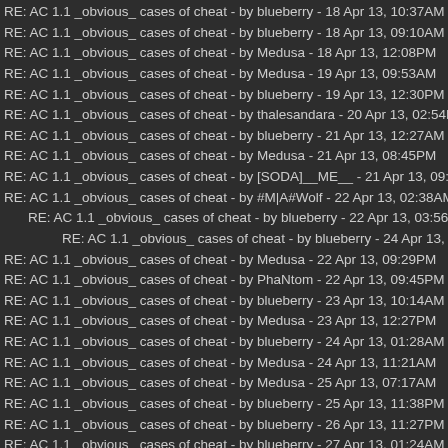RE: AC 1.1 _obvious_ cases of cheat - by blueberry - 18 Apr 13, 10:37AM
RE: AC 1.1 _obvious_ cases of cheat - by blueberry - 18 Apr 13, 09:10AM
RE: AC 1.1 _obvious_ cases of cheat - by Medusa - 18 Apr 13, 12:08PM
RE: AC 1.1 _obvious_ cases of cheat - by Medusa - 19 Apr 13, 09:53AM
RE: AC 1.1 _obvious_ cases of cheat - by blueberry - 19 Apr 13, 12:30PM
RE: AC 1.1 _obvious_ cases of cheat - by thalesandara - 20 Apr 13, 02:54PM
RE: AC 1.1 _obvious_ cases of cheat - by blueberry - 21 Apr 13, 12:27AM
RE: AC 1.1 _obvious_ cases of cheat - by Medusa - 21 Apr 13, 08:45PM
RE: AC 1.1 _obvious_ cases of cheat - by [SODA]__ME__ - 21 Apr 13, 09:12
RE: AC 1.1 _obvious_ cases of cheat - by #M|A#Wolf - 22 Apr 13, 02:38AM
RE: AC 1.1 _obvious_ cases of cheat - by blueberry - 22 Apr 13, 03:56AM
RE: AC 1.1 _obvious_ cases of cheat - by blueberry - 24 Apr 13, 11:12AM
RE: AC 1.1 _obvious_ cases of cheat - by Medusa - 22 Apr 13, 09:29PM
RE: AC 1.1 _obvious_ cases of cheat - by PhaNtom - 22 Apr 13, 09:45PM
RE: AC 1.1 _obvious_ cases of cheat - by blueberry - 23 Apr 13, 10:14AM
RE: AC 1.1 _obvious_ cases of cheat - by Medusa - 23 Apr 13, 12:27PM
RE: AC 1.1 _obvious_ cases of cheat - by blueberry - 24 Apr 13, 01:28AM
RE: AC 1.1 _obvious_ cases of cheat - by Medusa - 24 Apr 13, 11:21AM
RE: AC 1.1 _obvious_ cases of cheat - by Medusa - 25 Apr 13, 07:17AM
RE: AC 1.1 _obvious_ cases of cheat - by blueberry - 25 Apr 13, 11:38PM
RE: AC 1.1 _obvious_ cases of cheat - by blueberry - 26 Apr 13, 11:27PM
RE: AC 1.1 _obvious_ cases of cheat - by blueberry - 27 Apr 13, 01:24AM
RE: AC 1.1 _obvious_ cases of cheat - by jamz - 28 Apr 13, 07:04AM
RE: AC 1.1 _obvious_ cases of cheat - by Twist - 29 Apr 13, 12:34AM
RE: AC 1.1 _obvious_ cases of cheat - by D3M0NW0LF - 29 Apr 13, 04:18AM